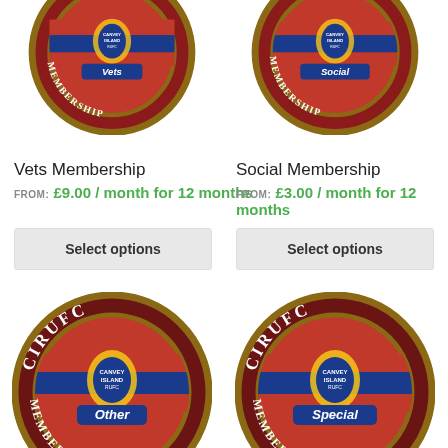[Figure (logo): Partially visible CIRUFC Vets membership badge (circular, red/blue/gold) with text 'Vets' in chrome lettering below]
[Figure (logo): Partially visible CIRUFC Social membership badge (circular, red/blue/gold) with text 'Social' in chrome lettering below]
Vets Membership
FROM: £9.00 / month for 12 months
Select options
Social Membership
FROM: £3.00 / month for 12 months
Select options
[Figure (logo): CIRUFC Other Membership circular badge — red outer ring with gold border, text CIRUFC at top and MEMBERSHIP curved at bottom, central blue/red striped circle with Canvey Island RUFC shield and 'Other' label]
[Figure (logo): CIRUFC Special Membership circular badge — red outer ring with gold border, text CIRUFC at top and MEMBERSHIP curved at bottom, central blue/red striped circle with Canvey Island RUFC shield and 'Special' label]